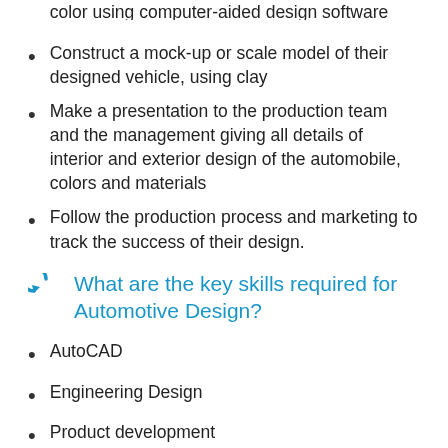color using computer-aided design software
Construct a mock-up or scale model of their designed vehicle, using clay
Make a presentation to the production team and the management giving all details of interior and exterior design of the automobile, colors and materials
Follow the production process and marketing to track the success of their design.
What are the key skills required for Automotive Design?
AutoCAD
Engineering Design
Product development
Spatial Ability